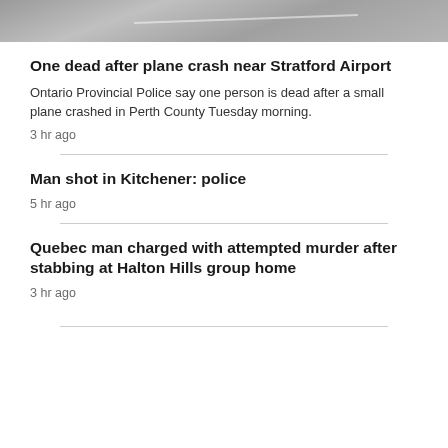[Figure (photo): Aerial or ground-level photo of a crash site or road/runway surface in grayscale]
One dead after plane crash near Stratford Airport
Ontario Provincial Police say one person is dead after a small plane crashed in Perth County Tuesday morning.
3 hr ago
Man shot in Kitchener: police
5 hr ago
Quebec man charged with attempted murder after stabbing at Halton Hills group home
3 hr ago